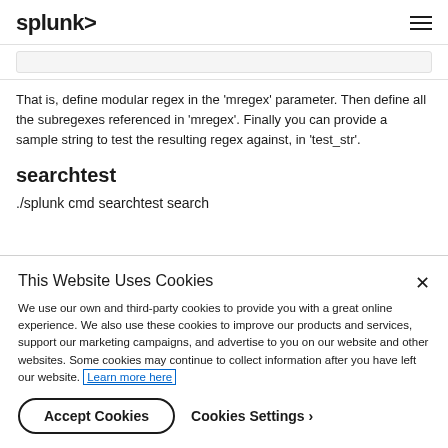splunk>
That is, define modular regex in the 'mregex' parameter. Then define all the subregexes referenced in 'mregex'. Finally you can provide a sample string to test the resulting regex against, in 'test_str'.
searchtest
./splunk cmd searchtest search
This Website Uses Cookies
We use our own and third-party cookies to provide you with a great online experience. We also use these cookies to improve our products and services, support our marketing campaigns, and advertise to you on our website and other websites. Some cookies may continue to collect information after you have left our website. Learn more here
Accept Cookies   Cookies Settings ›